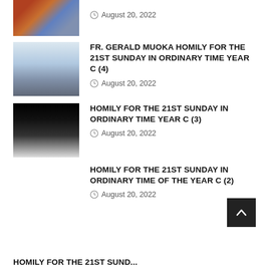[Figure (photo): Partial religious icon image at top, colorful figures]
August 20, 2022
[Figure (photo): Two figures on stairs, misty/heavenly white scene]
FR. GERALD MUOKA HOMILY FOR THE 21ST SUNDAY IN ORDINARY TIME YEAR C (4)
August 20, 2022
[Figure (photo): Dark image with bright light beam and figure walking toward it, scripture text overlay]
HOMILY FOR THE 21ST SUNDAY IN ORDINARY TIME YEAR C (3)
August 20, 2022
HOMILY FOR THE 21ST SUNDAY IN ORDINARY TIME OF THE YEAR C (2)
August 20, 2022
HOMILY FOR THE 21ST SUND...